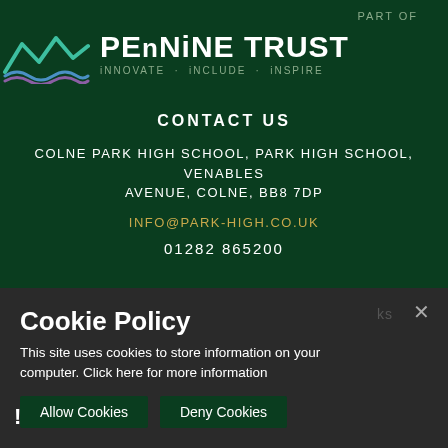[Figure (logo): Pennine Trust logo with mountain/wave lines in teal, blue, and purple, with text PART OF, PENNINE TRUST, iNNOVATE · iNCLUDE · iNSPIRE]
CONTACT US
COLNE PARK HIGH SCHOOL, PARK HIGH SCHOOL, VENABLES AVENUE, COLNE, BB8 7DP
INFO@PARK-HIGH.CO.UK
01282 865200
Cookie Policy
This site uses cookies to store information on your computer. Click here for more information
Allow Cookies
Deny Cookies